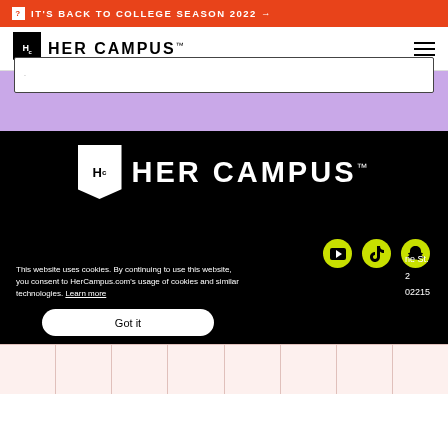IT'S BACK TO COLLEGE SEASON 2022 →
[Figure (logo): Her Campus logo with HC monogram and wordmark in black on white nav bar with hamburger menu]
[Figure (screenshot): Partial white input/content box on purple background]
[Figure (logo): Her Campus full logo in white on black footer background]
[Figure (infographic): Social media icons: YouTube, TikTok, Snapchat in yellow-green circles]
This website uses cookies. By continuing to use this website, you consent to HerCampus.com's usage of cookies and similar technologies. Learn more
ne St.
2
02215
Got it
[Figure (other): Light pink grid pattern at bottom of page]